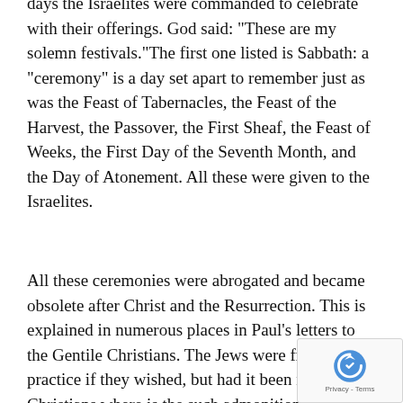days the Israelites were commanded to celebrate with their offerings.  God said: "These are my solemn festivals."The first one listed is Sabbath: a "ceremony" is a day set apart to remember just as was the Feast of Tabernacles, the Feast of the Harvest, the Passover, the First Sheaf,  the Feast of Weeks, the First Day of the Seventh Month, and the Day of Atonement.  All these were given to the Israelites.
All these ceremonies were abrogated and became obsolete after Christ and the Resurrection.  This is explained in numerous places in Paul's letters to the Gentile Christians. The Jews were free to practice if they wished, but had it been required of Christians where is the such admonition?  For Christians, the